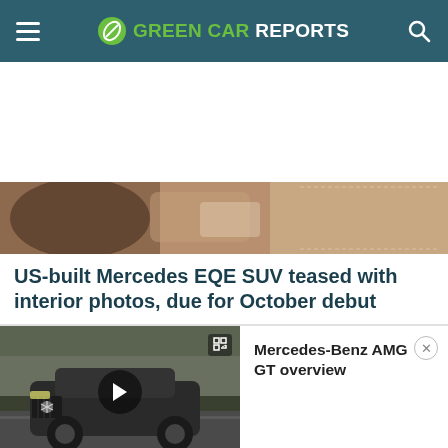GREEN CAR REPORTS
[Figure (photo): Close-up partial view of a car interior with leather upholstery in brown/tan tones]
US-built Mercedes EQE SUV teased with interior photos, due for October debut
[Figure (photo): Mercedes-Benz AMG GT driving on a road, dark colored car, video thumbnail with play button]
Mercedes-Benz AMG GT overview